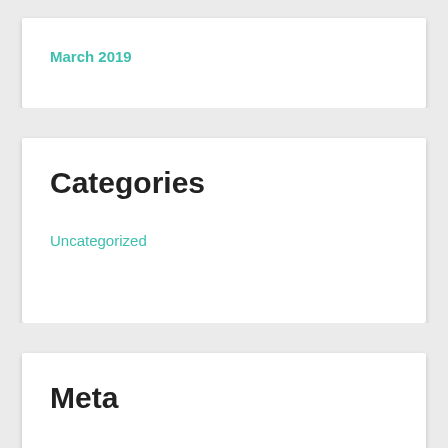March 2019
Categories
Uncategorized
Meta
Register